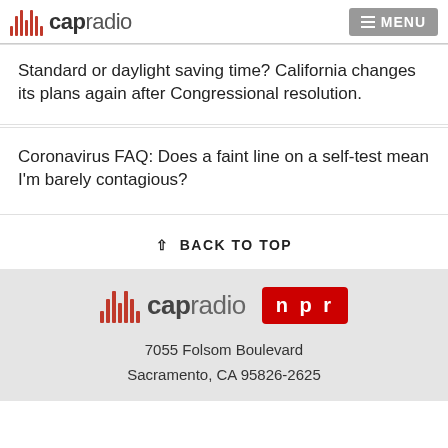capradio  MENU
Standard or daylight saving time? California changes its plans again after Congressional resolution.
Coronavirus FAQ: Does a faint line on a self-test mean I'm barely contagious?
↑ BACK TO TOP
capradio  npr  7055 Folsom Boulevard  Sacramento, CA 95826-2625